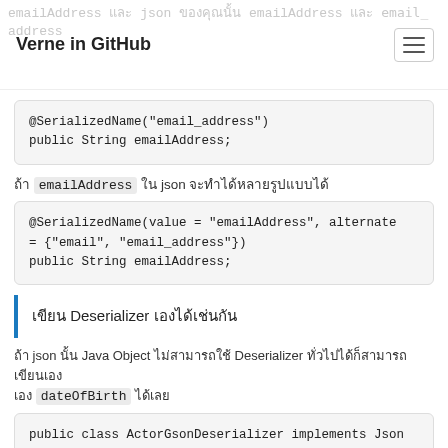Verne in GitHub
emailAddress ใน json จะเปลี่ยนเป็น emailAddress ได้
ถ้า emailAddress ใน json จะทำได้หลายรูปแบบได้
เขียน Deserializer เองได้เช่นกัน
ถ้า json นั้น ทาง Java Object ไม่สามารถใช้ Deserializer ทั่วไปได้ก็สามารถเขียนเอง dateOfBirth ได้เลย